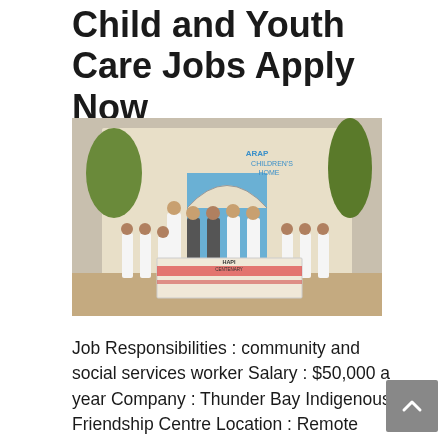Child and Youth Care Jobs Apply Now
September 29, 2021 by Shivani Gupta
[Figure (photo): Group photo of children and adults in white clothing standing in front of a building with 'ARAP Children's Home' signage, holding a banner]
Job Responsibilities : community and social services worker Salary : $50,000 a year Company : Thunder Bay Indigenous Friendship Centre Location : Remote